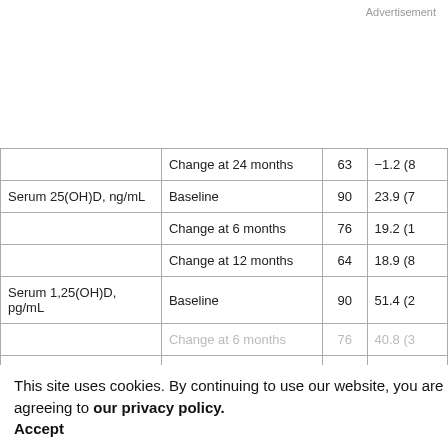Advertisement
|  | Timepoint | N | Value |
| --- | --- | --- | --- |
|  | Change at 24 months | 63 | −1.2 (8… |
| Serum 25(OH)D, ng/mL | Baseline | 90 | 23.9 (7… |
|  | Change at 6 months | 76 | 19.2 (1… |
|  | Change at 12 months | 64 | 18.9 (8… |
| Serum 1,25(OH)D, pg/mL | Baseline | 90 | 51.4 (2… |
|  | Change at 6 months | 76 | 40.8 (3… |
|  | Change at 9 months | 64 | 42.7 (2… |
| Intact PTH, pg/mL | Baseline | 87 | 34.0 (1… |
This site uses cookies. By continuing to use our website, you are agreeing to our privacy policy. Accept